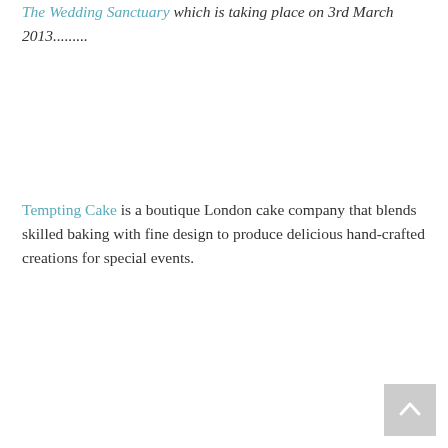The Wedding Sanctuary which is taking place on 3rd March 2013.........
Tempting Cake is a boutique London cake company that blends skilled baking with fine design to produce delicious hand-crafted creations for special events.